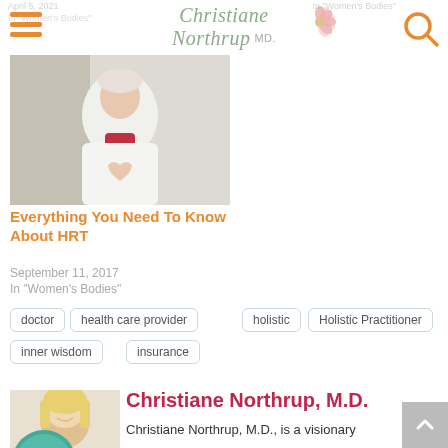Christiane Northrup MD
[Figure (photo): Photo of a woman in white coat making a heart shape with her hands, for the article 'Everything You Need To Know About HRT']
Everything You Need To Know About HRT
September 11, 2017
In "Women's Bodies"
doctor
health care provider
holistic
Holistic Practitioner
inner wisdom
insurance
[Figure (photo): Photo of Christiane Northrup, M.D., a woman with blonde hair smiling]
Christiane Northrup, M.D.
Christiane Northrup, M.D., is a visionary